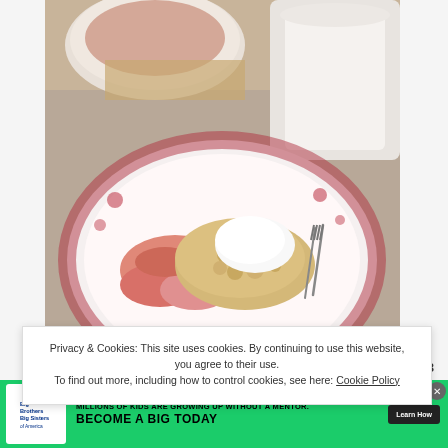[Figure (photo): Food photo showing a dessert — fruit crumble or cobbler with a dollop of cream/yogurt on a decorative red and white patterned plate, with a fork, and bowls in the background.]
Privacy & Cookies: This site uses cookies. By continuing to use this website, you agree to their use. To find out more, including how to control cookies, see here: Cookie Policy
[Figure (infographic): Bottom advertisement banner for Big Brothers Big Sisters of America. Green background. Logo on left. Text: 'MILLIONS OF KIDS ARE GROWING UP WITHOUT A MENTOR. BECOME A BIG TODAY'. Learn How button. Close button.]